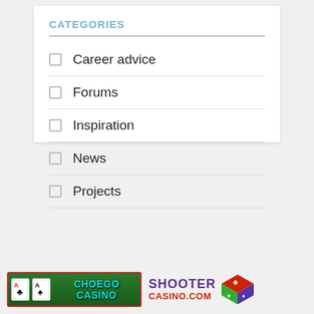CATEGORIES
Career advice
Forums
Inspiration
News
Projects
[Figure (logo): Choego Casino banner logo with playing cards and teal text on green background]
[Figure (logo): Shooter Casino.com logo with purple and red text and colorful dice]